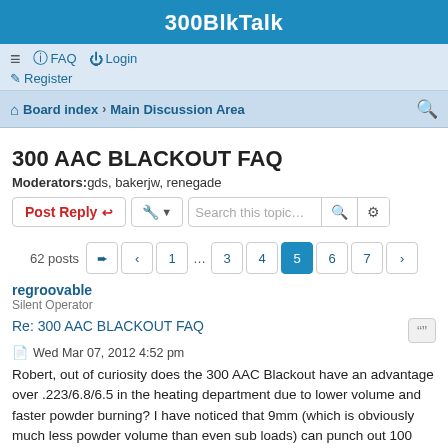300BlkTalk
≡  FAQ  Login  Register
Board index › Main Discussion Area
300 AAC BLACKOUT FAQ
Moderators: gds, bakerjw, renegade
62 posts  pages: 1 ... 3 4 5 6 7
regroovable
Silent Operator
Re: 300 AAC BLACKOUT FAQ
Wed Mar 07, 2012 4:52 pm
Robert, out of curiosity does the 300 AAC Blackout have an advantage over .223/6.8/6.5 in the heating department due to lower volume and faster powder burning? I have noticed that 9mm (which is obviously much less powder volume than even sub loads) can punch out 100 rounds and still be cool enough to touch. I haven't run that much ammo at one time on